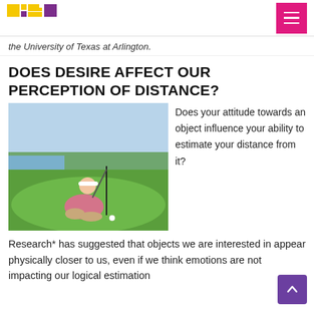Logo and navigation header
the University of Texas at Arlington.
DOES DESIRE AFFECT OUR PERCEPTION OF DISTANCE?
[Figure (photo): A woman in a pink polo shirt and white visor crouching on a golf course green, holding a golf club near the hole]
Does your attitude towards an object influence your ability to estimate your distance from it?
Research* has suggested that objects we are interested in appear physically closer to us, even if we think emotions are not impacting our logical estimation